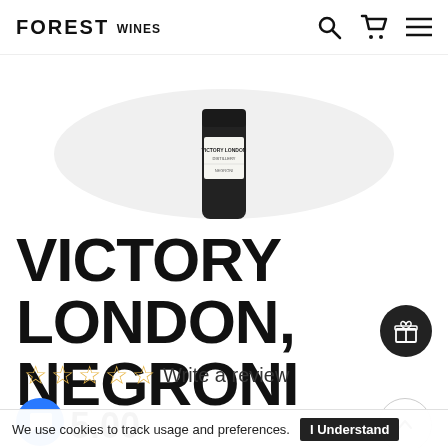FOREST WINES
[Figure (photo): Partial view of a dark glass jar/bottle for Victory London Negroni on a light oval background]
VICTORY LONDON, NEGRONI
☆☆☆☆☆ Write a review
5.00
We use cookies to track usage and preferences. I Understand